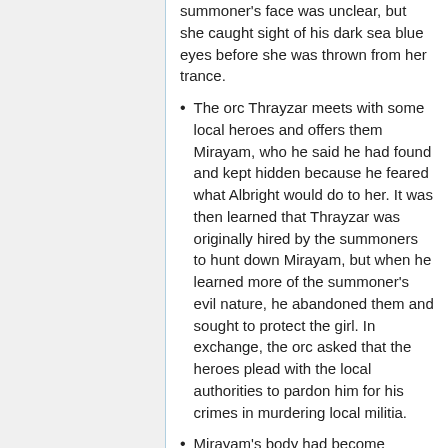summoner's face was unclear, but she caught sight of his dark sea blue eyes before she was thrown from her trance.
The orc Thrayzar meets with some local heroes and offers them Mirayam, who he said he had found and kept hidden because he feared what Albright would do to her. It was then learned that Thrayzar was originally hired by the summoners to hunt down Mirayam, but when he learned more of the summoner's evil nature, he abandoned them and sought to protect the girl. In exchange, the orc asked that the heroes plead with the local authorities to pardon him for his crimes in murdering local militia.
Mirayam's body had become